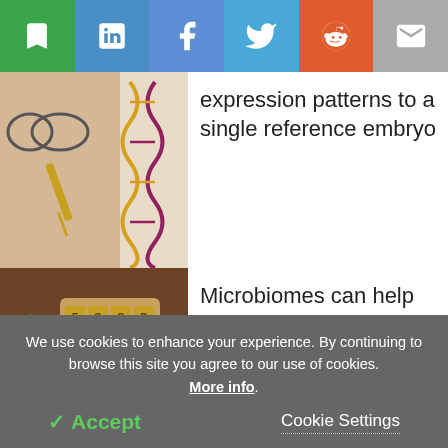[Figure (infographic): Social sharing toolbar with bookmark (green), LinkedIn, Facebook, Twitter, Reddit (orange), and email (grey) icons]
[Figure (photo): Science image showing a syringe/DNA double helix illustration, person with glasses in background]
expression patterns to a single reference embryo
[Figure (photo): Food allergy image: wooden blocks spelling FOOD ALLERGY with various foods including tomato, lemon, kiwi, strawberries, eggs, nuts on wooden board]
Microbiomes can help cure food allergies in mice
[Figure (photo): Dark background with blue lightning/electrical dynamics image]
Study explains the dynamics
We use cookies to enhance your experience. By continuing to browse this site you agree to our use of cookies. More info.
✓ Accept   Cookie Settings